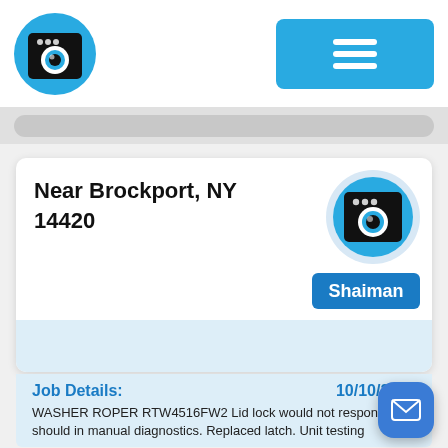[Figure (logo): Washing machine icon in blue circle, used as app logo in header]
[Figure (other): Hamburger menu button in blue rounded rectangle]
[Figure (other): Washing machine icon in blue circle with light gray outer ring, used as technician avatar]
Near Brockport, NY 14420
Shaiman
Job Details:
10/10/2019
WASHER ROPER RTW4516FW2 Lid lock would not respond as it should in manual diagnostics. Replaced latch. Unit testing
[Figure (other): Email/envelope floating action button in blue rounded square]